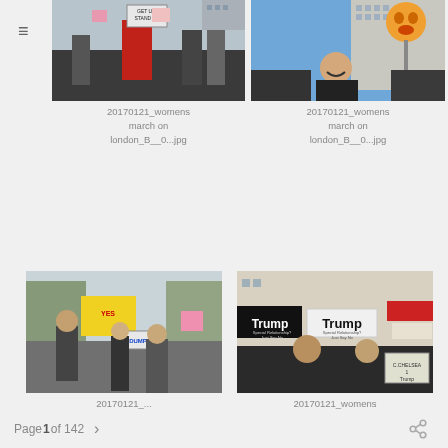[Figure (photo): Women's march protest photo — woman in red coat holding sign 'GET UP! STAND UP']
20170121_womens march on london_B__0...jpg
[Figure (photo): Women's march protest photo — man smiling holding large puppet/mask, crowd behind]
20170121_womens march on london_B__0...jpg
[Figure (photo): Women's march protest photo — protesters with colorful signs including yellow sign and 'DUMP SAVAGES' sign]
20170121_...jpg (partially visible)
[Figure (photo): Women's march protest photo — protesters with Trump signs 'Special Relationship? Just Say No']
20170121_womens march on london_B__0...jpg
Page 1 of 142  >  share